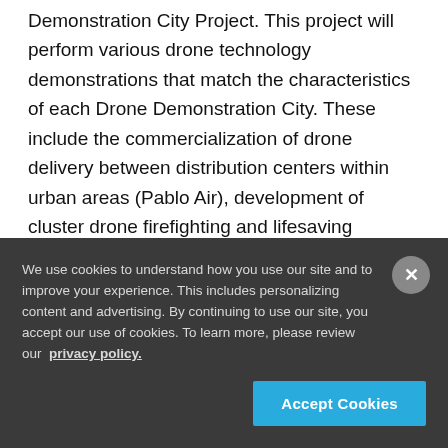Demonstration City Project. This project will perform various drone technology demonstrations that match the characteristics of each Drone Demonstration City. These include the commercialization of drone delivery between distribution centers within urban areas (Pablo Air), development of cluster drone firefighting and lifesaving systems (Cheongju University IndustryAcademic Cooperation Foundation), establishment of a domestic drone parachute standard...
We use cookies to understand how you use our site and to improve your experience. This includes personalizing content and advertising. By continuing to use our site, you accept our use of cookies. To learn more, please review our privacy policy.